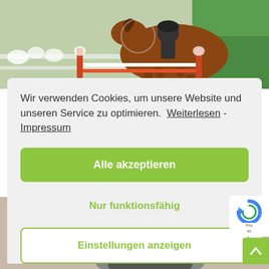[Figure (photo): Horse jumping over obstacle at equestrian event, background with flowers and green tent]
Wir verwenden Cookies, um unsere Website und unseren Service zu optimieren.  Weiterlesen -  Impressum
Alle akzeptieren
Nur funktionsfähig
Einstellungen anzeigen
[Figure (photo): Woman smiling, wearing equestrian attire, long brown hair]
[Figure (logo): reCAPTCHA badge with Google reCAPTCHA logo and Privacy/Terms text]